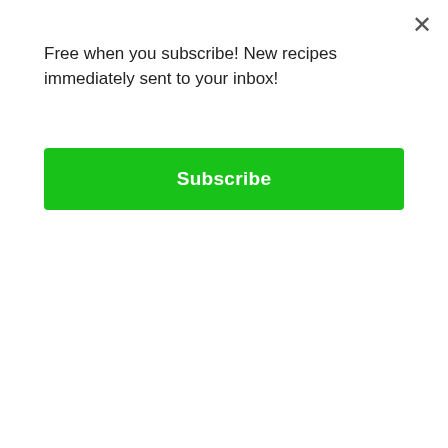Free when you subscribe! New recipes immediately sent to your inbox!
[Figure (other): Green Subscribe button]
absolutely delicious! They taste like an egg roll but without any of the fat or gluten. Thank you Shayda for a brilliant idea! I don't know if you can get the same results in the oven or a convection oven because I haven't
d but it sure does work well in the
[Figure (screenshot): Back To School Essentials advertisement banner for Leesburg Premium Outlets with a black circular logo with arrows and a blue road sign icon]